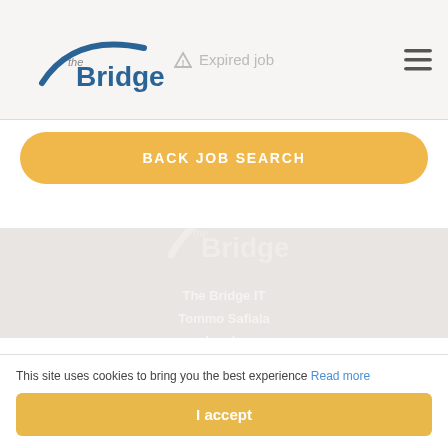[Figure (logo): The Bridge logo — curved arc above text 'the Bridge' in blue and grey]
Expired job
BACK JOB SEARCH
[Figure (logo): The Bridge watermark logo in footer section]
The Bridge IT
Tommo Safiala
Leeds
This site uses cookies to bring you the best experience Read more
I accept